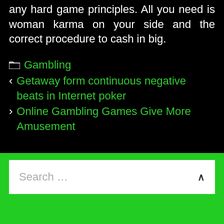any hard game principles. All you need is woman karma on your side and the correct procedure to cash in big.
Gambling
< Getaway form continuous negative beats in Internet poker
> Online Gambling Games Give More Amusement
Search ...